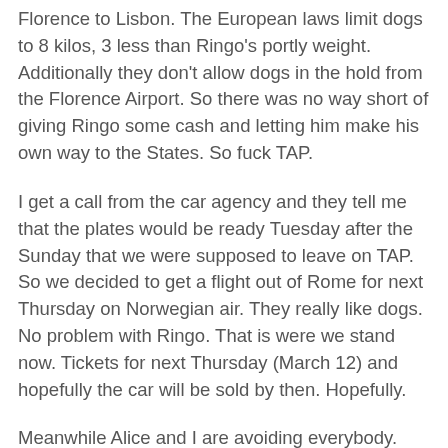Florence to Lisbon. The European laws limit dogs to 8 kilos, 3 less than Ringo's portly weight. Additionally they don't allow dogs in the hold from the Florence Airport. So there was no way short of giving Ringo some cash and letting him make his own way to the States. So fuck TAP.
I get a call from the car agency and they tell me that the plates would be ready Tuesday after the Sunday that we were supposed to leave on TAP. So we decided to get a flight out of Rome for next Thursday on Norwegian air. They really like dogs. No problem with Ringo. That is were we stand now. Tickets for next Thursday (March 12) and hopefully the car will be sold by then. Hopefully.
Meanwhile Alice and I are avoiding everybody. When we have to shop we disinfect our hands before and after we touch anything. We use the automatic registers in the supermarket and as soon we are back in the car we disinfect again with surgical disinfectant. No shaking hands. No touching anything unnecessarily.